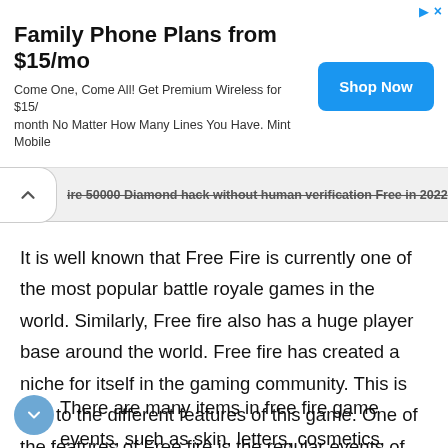[Figure (infographic): Advertisement banner: 'Family Phone Plans from $15/mo. Come One, Come All! Get Premium Wireless for $15/month No Matter How Many Lines You Have. Mint Mobile' with a blue 'Shop Now' button.]
ire 50000 Diamond hack without human verification Free in 2022
It is well known that Free Fire is currently one of the most popular battle royale games in the world. Similarly, Free fire also has a huge player base around the world. Free fire has created a niche for itself in the gaming community. This is due to the different features of this game. One of the features of Free fire is the regular events of the game that the developers of Free fire reveal from time to time.
There are many items in free fire game events, such as skin, letters, cosmetics, weapons, and many more. These